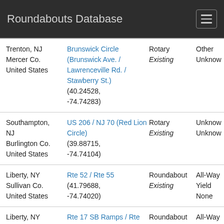Roundabouts Database
| Location | Name / Coordinates | Type / Status | Extra |
| --- | --- | --- | --- |
| Trenton, NJ
Mercer Co.
United States | Brunswick Circle (Brunswick Ave. / Lawrenceville Rd. / Stawberry St.)
(40.24528, -74.74283) | Rotary
Existing | Other
Unknow |
| Southampton, NJ
Burlington Co.
United States | US 206 / NJ 70 (Red Lion Circle)
(39.88715, -74.74104) | Rotary
Existing | Unknow
Unknow |
| Liberty, NY
Sullivan Co.
United States | Rte 52 / Rte 55
(41.79688, -74.74020) | Roundabout
Existing | All-Way
Yield
None |
| Liberty, NY
Sullivan Co.
United States | Rte 17 SB Ramps / Rte 52
(41.79303, …) | Roundabout
Existing | All-Way
Yield
None |